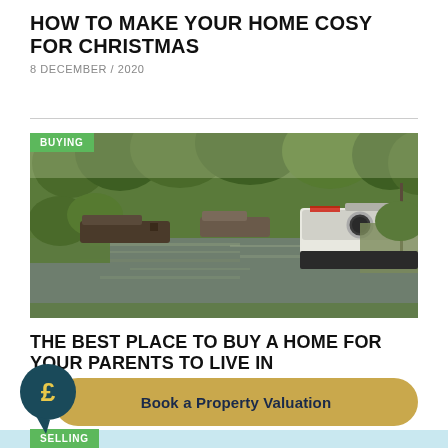HOW TO MAKE YOUR HOME COSY FOR CHRISTMAS
8 DECEMBER / 2020
[Figure (photo): Canal scene with narrowboats moored along a tree-lined waterway, featuring a white barge in the foreground. Green 'BUYING' badge in top-left corner.]
THE BEST PLACE TO BUY A HOME FOR YOUR PARENTS TO LIVE IN
NOVEMBER / 2020
[Figure (infographic): Pound sign speech bubble icon (dark teal circle with £ symbol) overlapping a golden/yellow rounded rectangle button reading 'Book a Property Valuation']
SELLING